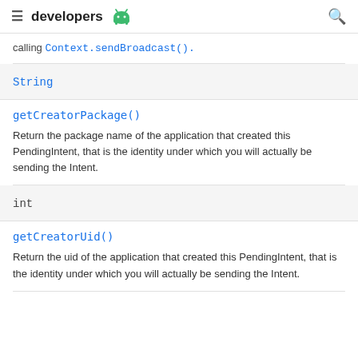developers
calling Context.sendBroadcast().
| String |
| --- |
getCreatorPackage()
Return the package name of the application that created this PendingIntent, that is the identity under which you will actually be sending the Intent.
| int |
| --- |
getCreatorUid()
Return the uid of the application that created this PendingIntent, that is the identity under which you will actually be sending the Intent.